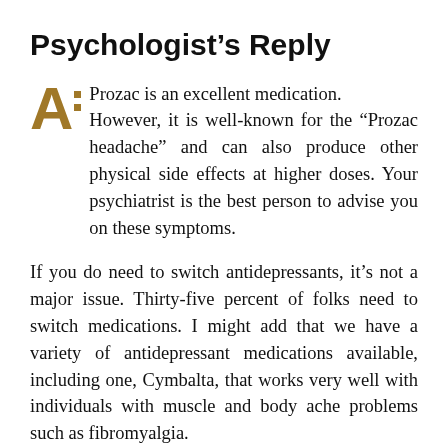Psychologist’s Reply
Prozac is an excellent medication. However, it is well-known for the “Prozac headache” and can also produce other physical side effects at higher doses. Your psychiatrist is the best person to advise you on these symptoms.
If you do need to switch antidepressants, it’s not a major issue. Thirty-five percent of folks need to switch medications. I might add that we have a variety of antidepressant medications available, including one, Cymbalta, that works very well with individuals with muscle and body ache problems such as fibromyalgia.